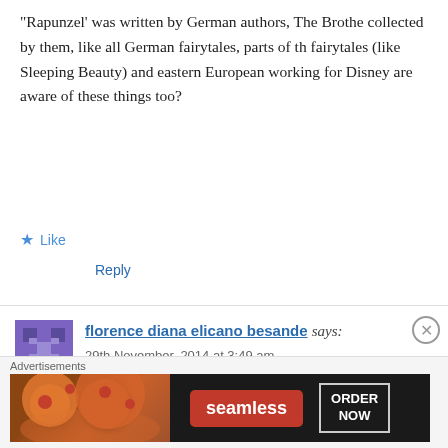“Rapunzel’ was written by German authors, The Brothe collected by them, like all German fairytales, parts of th fairytales (like Sleeping Beauty) and eastern European working for Disney are aware of these things too?
Like
Reply
florence diana elicano besande says:
29th November, 2014 at 3:49 am
I hope jack frost from the rise of the guardians and elsa think they have love chemistry 😀 hope ull work it up.
Like
Advertisements
[Figure (other): Seamless food delivery advertisement banner with pizza image, Seamless logo in red, and ORDER NOW button]